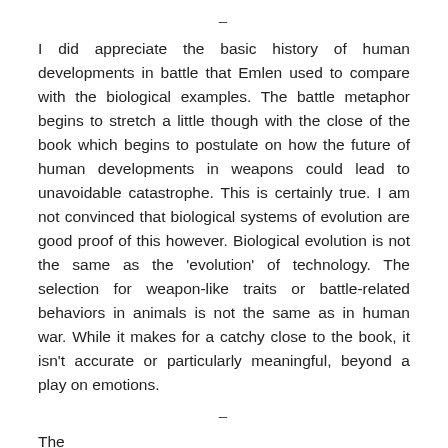–
I did appreciate the basic history of human developments in battle that Emlen used to compare with the biological examples. The battle metaphor begins to stretch a little though with the close of the book which begins to postulate on how the future of human developments in weapons could lead to unavoidable catastrophe. This is certainly true. I am not convinced that biological systems of evolution are good proof of this however. Biological evolution is not the same as the 'evolution' of technology. The selection for weapon-like traits or battle-related behaviors in animals is not the same as in human war. While it makes for a catchy close to the book, it isn't accurate or particularly meaningful, beyond a play on emotions.
–
The...